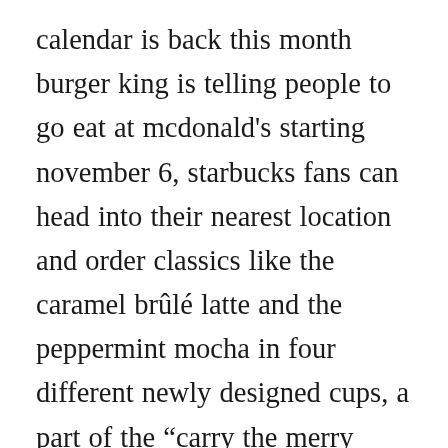calendar is back this month burger king is telling people to go eat at mcdonald's starting november 6, starbucks fans can head into their nearest location and order classics like the caramel brûlé latte and the peppermint mocha in four different newly designed cups, a part of the “carry the merry holiday. They also turned to their new creative expression, a reimagining of the starbucks brand. Starbucks has confirmed with narcity that the holiday collection will be available in stores on